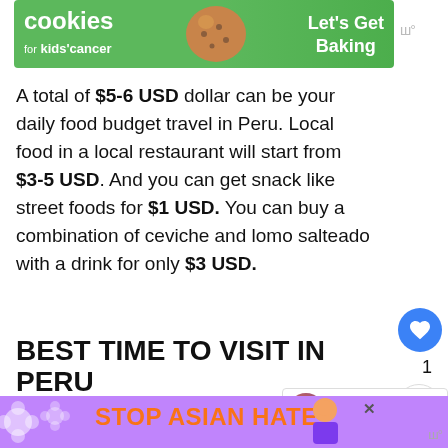[Figure (screenshot): Green advertisement banner for 'cookies for kids cancer - Let's Get Baking' with cookie image]
A total of $5-6 USD dollar can be your daily food budget travel in Peru. Local food in a local restaurant will start from $3-5 USD. And you can get snack like street foods for $1 USD. You can buy a combination of ceviche and lomo salteado with a drink for only $3 USD.
BEST TIME TO VISIT IN PERU
You can go to Peru any time of the year, months of December to February are the best time...
[Figure (screenshot): Purple 'Stop Asian Hate' advertisement banner with animated character]